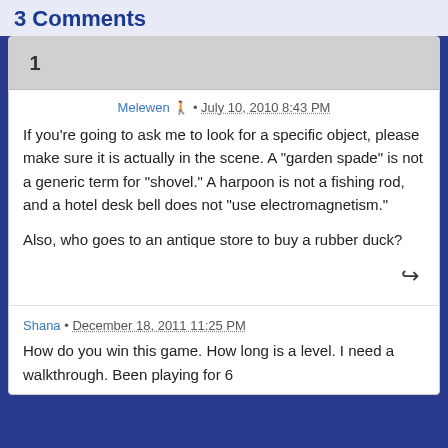3 Comments
Melewen · July 10, 2010 8:43 PM
If you're going to ask me to look for a specific object, please make sure it is actually in the scene. A "garden spade" is not a generic term for "shovel." A harpoon is not a fishing rod, and a hotel desk bell does not "use electromagnetism."

Also, who goes to an antique store to buy a rubber duck?
Shana • December 18, 2011 11:25 PM
How do you win this game. How long is a level. I need a walkthrough. Been playing for 6